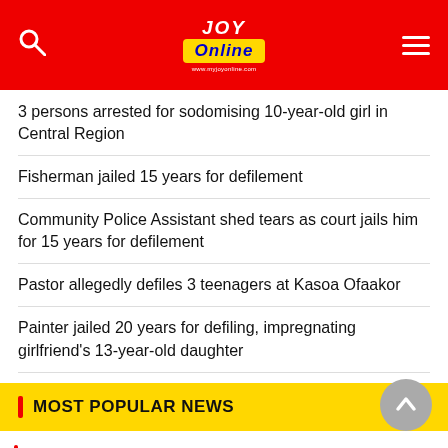Joy Online
3 persons arrested for sodomising 10-year-old girl in Central Region
Fisherman jailed 15 years for defilement
Community Police Assistant shed tears as court jails him for 15 years for defilement
Pastor allegedly defiles 3 teenagers at Kasoa Ofaakor
Painter jailed 20 years for defiling, impregnating girlfriend's 13-year-old daughter
MOST POPULAR NEWS
374 academic programmes at UG unaccredited – Auditor-General's report
We should have a broader conversation on Free SHS – Akufo-Addo